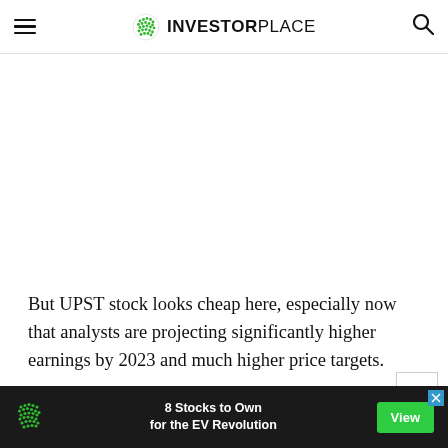INVESTORPLACE
But UPST stock looks cheap here, especially now that analysts are projecting significantly higher earnings by 2023 and much higher price targets.
[Figure (infographic): Bottom advertisement banner: dark background with InvestorPlace green dot logo, text '8 Stocks to Own for the EV Revolution', and a green 'View' button]